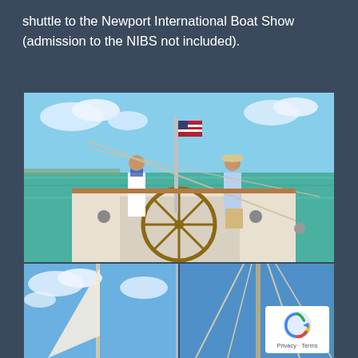shuttle to the Newport International Boat Show (admission to the NIBS not included).
[Figure (photo): Two people on the deck of a sailboat on open water. A woman in a striped shirt stands at the helm/wheel, and a man in a light blue shirt and hat sits nearby. An American flag is visible on the mast. The water is teal-green and the sky is blue with clouds.]
[Figure (photo): Bottom-left photo: sailboat mast and sail against a blue sky with white clouds.]
[Figure (photo): Bottom-right photo: rigging/lines of a sailboat against a clear blue sky. A reCAPTCHA badge overlay is visible in the bottom-right corner with 'Privacy - Terms' text.]